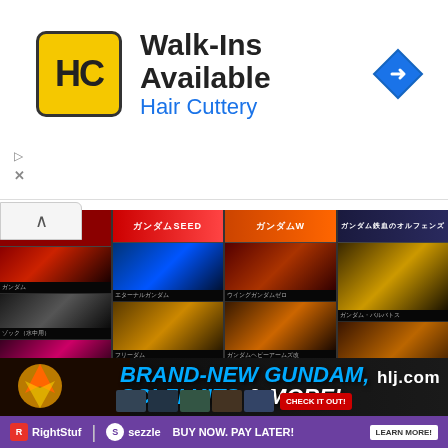[Figure (screenshot): Hair Cuttery advertisement banner with yellow HC logo, 'Walk-Ins Available' heading, blue navigation arrow icon, and small ad controls]
[Figure (screenshot): Gundam video game screenshot showing four columns of Gundam mecha character selection screens with Japanese text labels, on a dark background]
[Figure (screenshot): HLJ.com advertisement banner: 'BRAND-NEW GUNDAM, SCI-FI KITS & MORE!' in blue italic bold text with CHECK IT OUT button and thumbnail images of model kits]
[Figure (screenshot): RightStuf and Sezzle advertisement bar: 'BUY NOW. PAY LATER!' with LEARN MORE button on purple background]